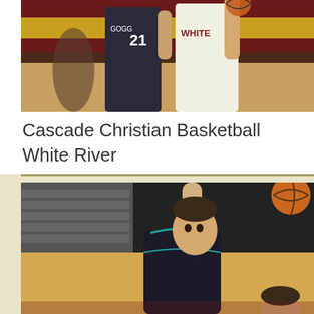[Figure (photo): Basketball game photo showing players in action. One player wearing dark jersey with number 21 and another in white jersey with 'WHITE' text visible. Gym interior with maroon and yellow colors in background.]
Cascade Christian Basketball
White River
[Figure (photo): Basketball game action photo showing a player in dark teal/black jersey reaching up with one arm toward a basketball visible in upper right corner. Gymnasium bleachers and hardwood court visible in background. Another player's head visible at bottom right.]